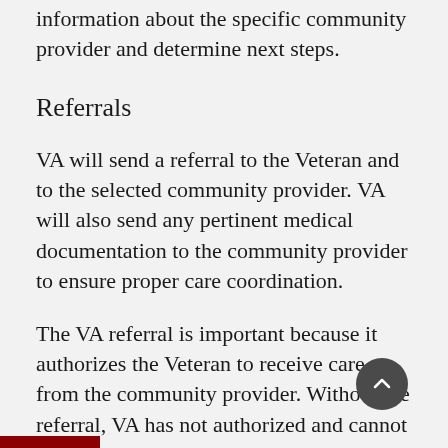will work with the Veteran to find out more information about the specific community provider and determine next steps.
Referrals
VA will send a referral to the Veteran and to the selected community provider. VA will also send any pertinent medical documentation to the community provider to ensure proper care coordination.
The VA referral is important because it authorizes the Veteran to receive care from the community provider. Without the referral, VA has not authorized and cannot pay for the care in most circumstances.